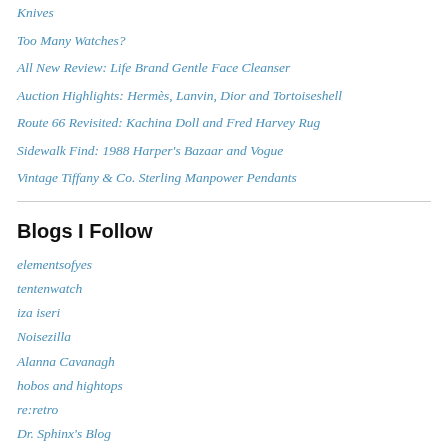Knives
Too Many Watches?
All New Review: Life Brand Gentle Face Cleanser
Auction Highlights: Hermès, Lanvin, Dior and Tortoiseshell
Route 66 Revisited: Kachina Doll and Fred Harvey Rug
Sidewalk Find: 1988 Harper's Bazaar and Vogue
Vintage Tiffany & Co. Sterling Manpower Pendants
Blogs I Follow
elementsofyes
tentenwatch
iza iseri
Noisezilla
Alanna Cavanagh
hobos and hightops
re:retro
Dr. Sphinx's Blog
hovercraftdoggy